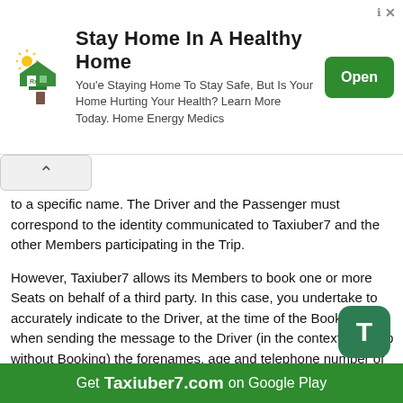[Figure (screenshot): Advertisement banner: 'Stay Home In A Healthy Home' with house icon, subtitle text, and green Open button]
to a specific name. The Driver and the Passenger must correspond to the identity communicated to Taxiuber7 and the other Members participating in the Trip.
However, Taxiuber7 allows its Members to book one or more Seats on behalf of a third party. In this case, you undertake to accurately indicate to the Driver, at the time of the Booking or when sending the message to the Driver (in the context of a Trip without Booking) the forenames, age and telephone number of the person on whose behalf you are reserving a Seat. It is strictly prohibited to book a Seat for a minor under the age of 13 travelling alone. In the case where you are reserving a seat for a minor over the age of 13 travelling alone, you undertake to request the prior agreement of the Driver and to provide him with duly completed and signed permission of his/her legal representatives.
In addition, the Platform is intended for the booking of Seats for individuals. It is forbidden to book a Seat for transporting any object, package, animal travelling alone or material items
Get Taxiuber7.com on Google Play